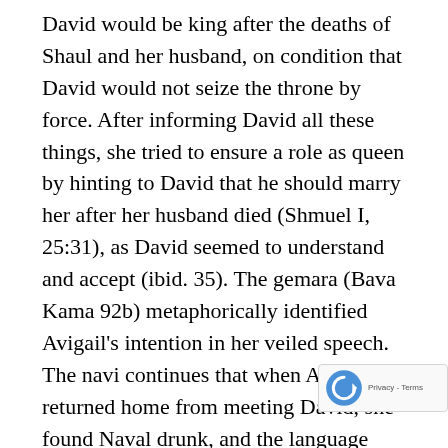David would be king after the deaths of Shaul and her husband, on condition that David would not seize the throne by force. After informing David all these things, she tried to ensure a role as queen by hinting to David that he should marry her after her husband died (Shmuel I, 25:31), as David seemed to understand and accept (ibid. 35). The gemara (Bava Kama 92b) metaphorically identified Avigail's intention in her veiled speech. The navi continues that when Avigail returned home from meeting David, she found Naval drunk, and the language applies that they had relations (compare ibid. 36 to Bereishit 16:4, 29:23, & 29:30). This was inappropriate on several grounds, including that he was drunk and that she was planning to marry David. Therefore, this otherwise great